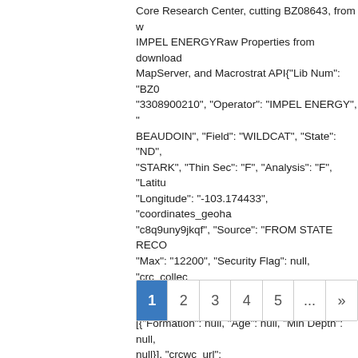Core Research Center, cutting BZ08643, from w... IMPEL ENERGYRaw Properties from download... MapServer, and Macrostrat API{"Lib Num": "BZ0... "3308900210", "Operator": "IMPEL ENERGY", "... BEAUDOIN", "Field": "WILDCAT", "State": "ND",... "STARK", "Thin Sec": "F", "Analysis": "F", "Latitu... "Longitude": "-103.174433", "coordinates_geoha... "c8q9uny9jkqf", "Source": "FROM STATE RECO... "Max": "12200", "Security Flag": null, "crc_collec... "cutting", "sb_parent_id": "4f4e49d8e4b07f02db5... [{"Formation": null, "Age": null, "Min Depth": null,... null}], "crcwc_url": "https://my.usgs.gov/crcwc/cu...
Categories: Physical Item; Tags: Paleocene, Sentinel Butte Formation, claystone, lignite, All tags...
[Figure (other): Pagination control showing pages 1 (active/highlighted in blue), 2, 3, 4, 5, ..., >>]